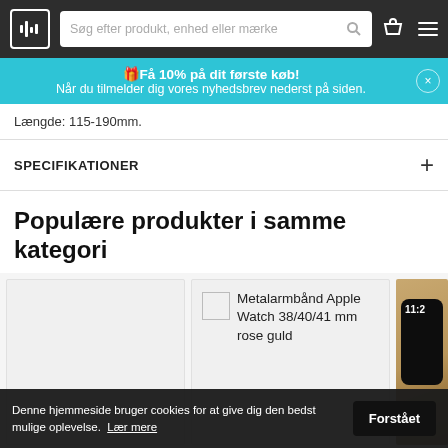Søg efter produkt, enhed eller mærke
Få 10% på dit første køb! Når du tilmelder dig vores nyhedsbrev nederst på siden.
Længde: 115-190mm.
SPECIFIKATIONER
Populære produkter i samme kategori
[Figure (photo): Product card showing Metalarmbånd Apple Watch 38/40/41 mm rose guld]
Denne hjemmeside bruger cookies for at give dig den bedst mulige oplevelse.  Lær mere